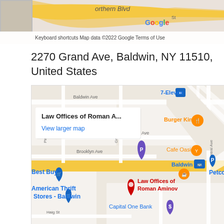[Figure (map): Top portion of a Google Maps screenshot showing Northern Blvd area with Google logo and attribution text: Keyboard shortcuts, Map data ©2022 Google, Terms of Use]
2270 Grand Ave, Baldwin, NY 11510, United States
[Figure (map): Google Maps screenshot showing Baldwin, NY area with labeled landmarks: 7-Eleven, Burger King, Cafe Oasis, Baldwin transit stop, Best Buy, Petco, American Thrift Stores - Baldwin, Capital One Bank, and a red pin marker for Law Offices of Roman Aminov at 2270 Grand Ave. A popup shows 'Law Offices of Roman A...' with a 'View larger map' link. Streets labeled include Baldwin Ave, New York Ave, Brooklyn Ave, Pine St, Grove St, Central Ave, Haig St.]